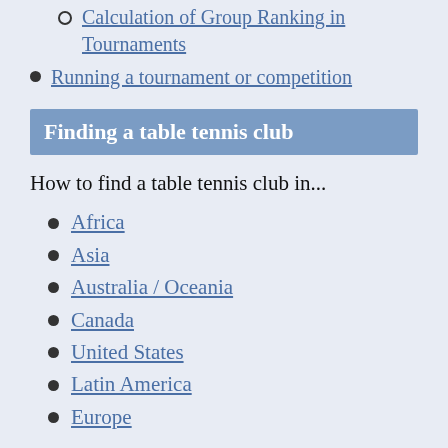Calculation of Group Ranking in Tournaments
Running a tournament or competition
Finding a table tennis club
How to find a table tennis club in...
Africa
Asia
Australia / Oceania
Canada
United States
Latin America
Europe